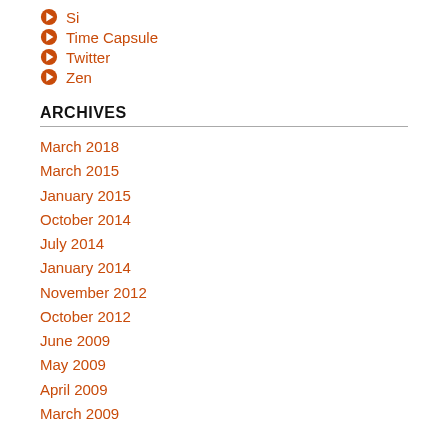Si
Time Capsule
Twitter
Zen
ARCHIVES
March 2018
March 2015
January 2015
October 2014
July 2014
January 2014
November 2012
October 2012
June 2009
May 2009
April 2009
March 2009